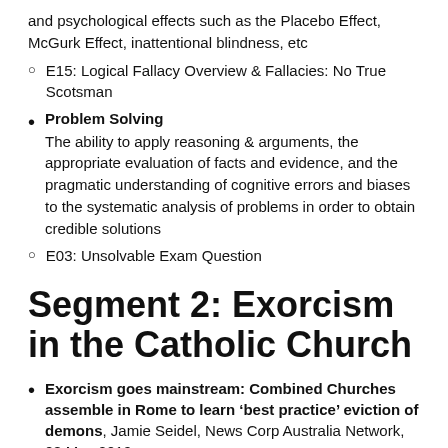and psychological effects such as the Placebo Effect, McGurk Effect, inattentional blindness, etc
E15: Logical Fallacy Overview & Fallacies: No True Scotsman
Problem Solving
The ability to apply reasoning & arguments, the appropriate evaluation of facts and evidence, and the pragmatic understanding of cognitive errors and biases to the systematic analysis of problems in order to obtain credible solutions
E03: Unsolvable Exam Question
Segment 2: Exorcism in the Catholic Church
Exorcism goes mainstream: Combined Churches assemble in Rome to learn ‘best practice’ eviction of demons, Jamie Seidel, News Corp Australia Network, 08 May 2019